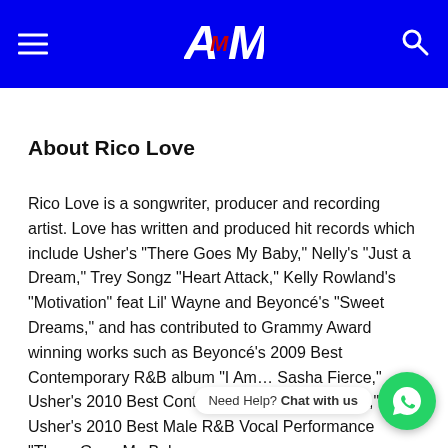AM logo header with hamburger menu and search icon
About Rico Love
Rico Love is a songwriter, producer and recording artist. Love has written and produced hit records which include Usher’s “There Goes My Baby,” Nelly’s “Just a Dream,” Trey Songz “Heart Attack,” Kelly Rowland’s “Motivation” feat Lil’ Wayne and Beyoncé’s “Sweet Dreams,” and has contributed to Grammy Award winning works such as Beyoncé’s 2009 Best Contemporary R&B album “I Am… Sasha Fierce,” Usher’s 2010 Best Contemporary R… Raymond,” and Usher’s 2010 Best Male R&B Vocal Performance “There Goes My Baby